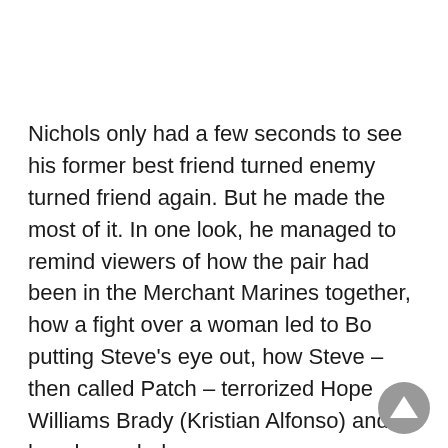Nichols only had a few seconds to see his former best friend turned enemy turned friend again. But he made the most of it. In one look, he managed to remind viewers of how the pair had been in the Merchant Marines together, how a fight over a woman led to Bo putting Steve's eye out, how Steve – then called Patch – terrorized Hope Williams Brady (Kristian Alfonso) and how he ended